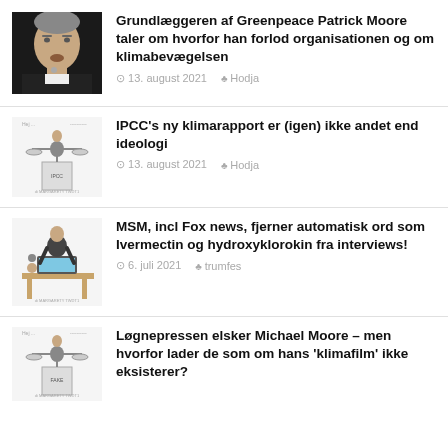[Figure (photo): Photo of an older man speaking, dark background]
Grundlæggeren af Greenpeace Patrick Moore taler om hvorfor han forlod organisationen og om klimabevægelsen
13. august 2021   Hodja
[Figure (illustration): Cartoon illustration of a figure at a podium with scales]
IPCC's ny klimarapport er (igen) ikke andet end ideologi
13. august 2021   Hodja
[Figure (illustration): Cartoon illustration of a figure at a desk with a computer]
MSM, incl Fox news, fjerner automatisk ord som Ivermectin og hydroxyklorokin fra interviews!
6. juli 2021   trumfes
[Figure (illustration): Cartoon illustration of a figure at a podium with scales]
Løgnepressen elsker Michael Moore – men hvorfor lader de som om hans 'klimafilm' ikke eksisterer?